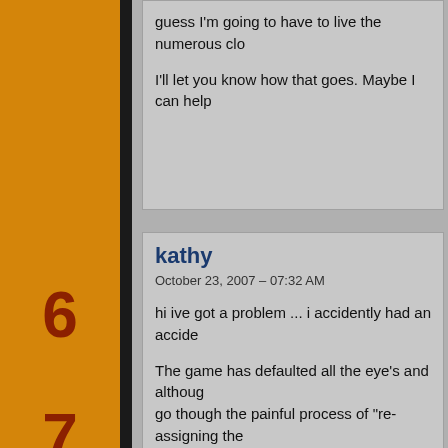guess I'm going to have to live the numerous clo
I'll let you know how that goes. Maybe I can help
kathy
October 23, 2007 – 07:32 AM
hi ive got a problem ... i accidently had an accide
The game has defaulted all the eye's and althoug
go though the painful process of "re-assigning the
I tried doing it for a couple of sims however as yo
eye's that show up in game you mention changin
open it with SimPE??